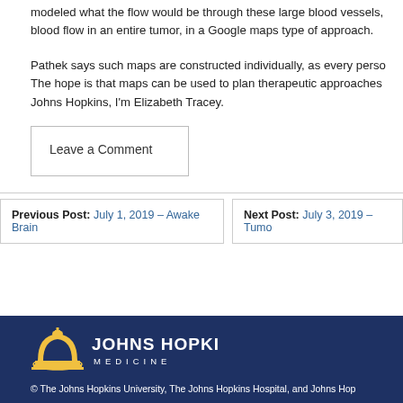modeled what the flow would be through these large blood vessels, blood flow in an entire tumor, in a Google maps type of approach.
Pathek says such maps are constructed individually, as every person. The hope is that maps can be used to plan therapeutic approaches. Johns Hopkins, I'm Elizabeth Tracey.
Leave a Comment
Previous Post: July 1, 2019 – Awake Brain
Next Post: July 3, 2019 – Tumo
[Figure (logo): Johns Hopkins Medicine logo — gold arch/dome icon on the left with 'JOHNS HOPKINS' in large white letters and 'MEDICINE' spaced below, on a dark navy background]
© The Johns Hopkins University, The Johns Hopkins Hospital, and Johns Hop